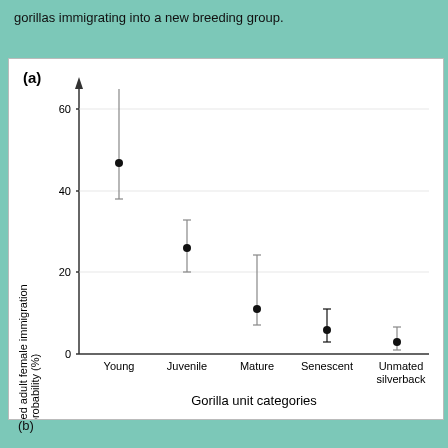gorillas immigrating into a new breeding group.
[Figure (scatter-plot): Scatter plot with error bars showing predicted adult female immigration probability (%) for five gorilla unit categories: Young (~47%), Juvenile (~26%), Mature (~11%), Senescent (~6%), Unmated silverback (~3%). Error bars extend vertically for each point. Y-axis from 0 to 60 (with arrow above 60). X-axis shows five categories.]
(b)